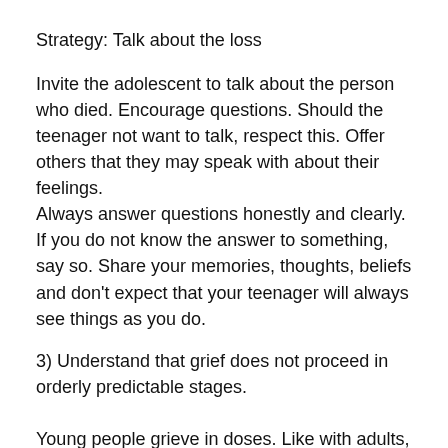Strategy: Talk about the loss
Invite the adolescent to talk about the person who died. Encourage questions. Should the teenager not want to talk, respect this. Offer others that they may speak with about their feelings.
Always answer questions honestly and clearly. If you do not know the answer to something, say so. Share your memories, thoughts, beliefs and don't expect that your teenager will always see things as you do.
3) Understand that grief does not proceed in orderly predictable stages.
Young people grieve in doses. Like with adults, their grief is more likely to go in waves. Sometimes adolescents may have outbursts of grief after a period when they have seemed perfectly okay. Know that this is normal. Their grief like yours, may at times seem